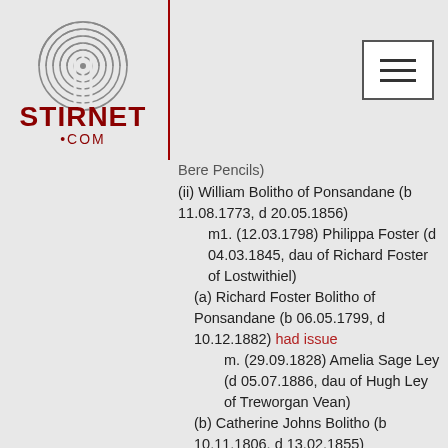[Figure (logo): Stirnet.com logo with fingerprint graphic and text 'STIRNET .COM' in dark red]
Bere Pencils)
(ii) William Bolitho of Ponsandane (b 11.08.1773, d 20.05.1856)
m1. (12.03.1798) Philippa Foster (d 04.03.1845, dau of Richard Foster of Lostwithiel)
(a) Richard Foster Bolitho of Ponsandane (b 06.05.1799, d 10.12.1882) had issue
m. (29.09.1828) Amelia Sage Ley (d 05.07.1886, dau of Hugh Ley of Treworgan Vean)
(b) Catherine Johns Bolitho (b 10.11.1806, d 13.02.1855)
m. (14.08.1828) John Sargeant Bedford of Pendrea
(c) Mary Foster Bolitho (b 11.1812, bur 12.12.1815)
m2. Mary Dennis (bur 04.05.1853, widow of Rev. W. Garnon)